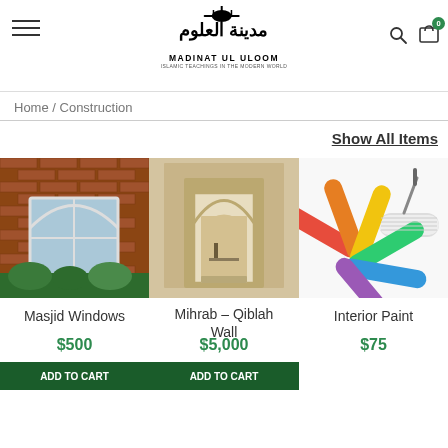Madinat Ul Uloom — Islamic Teachings in the Modern World
Home / Construction
Show All Items
[Figure (photo): Arched window set in red brick wall of a masjid exterior]
Masjid Windows
$500
[Figure (photo): Mihrab (prayer niche) archway in light-coloured stone wall — Qiblah Wall]
Mihrab – Qiblah Wall
$5,000
[Figure (photo): Colorful paint fan deck swatches with a paint roller on white background]
Interior Paint
$75